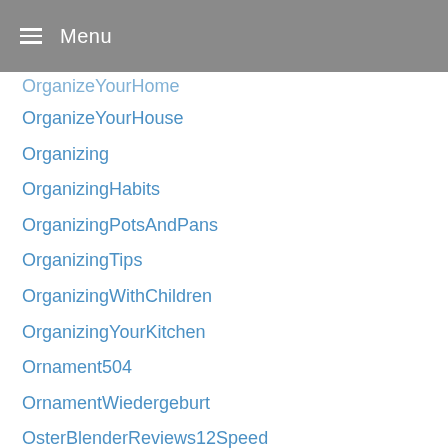Menu
OrganizeYourHome
OrganizeYourHouse
Organizing
OrganizingHabits
OrganizingPotsAndPans
OrganizingTips
OrganizingWithChildren
OrganizingYourKitchen
Ornament504
OrnamentWiedergeburt
OsterBlenderReviews12Speed
OsterBlenderReviewsRatings
OutdoorHandy
OutdoorSmartphone
Over
OverTheToiletStorageCanada
Packing